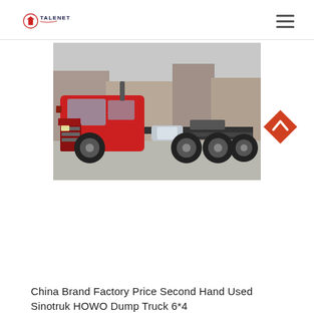TALENET
[Figure (photo): Side view of a red Sinotruk HOWO heavy duty tractor truck / dump truck parked in an industrial yard with buildings in the background. The truck is a 6x4 configuration with a red cab and large rear axle assembly.]
China Brand Factory Price Second Hand Used Sinotruk HOWO Dump Truck 6*4